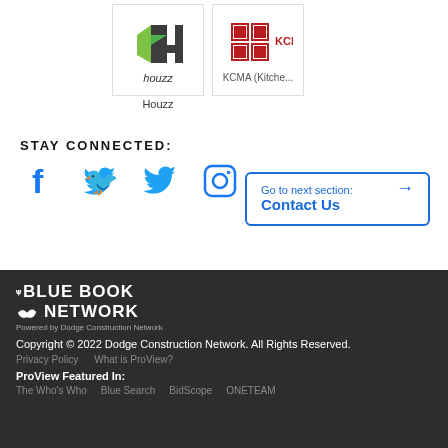[Figure (logo): Houzz logo with green and black play-button style icon and 'houzz' text]
[Figure (logo): KCMA logo with red grid squares and text 'KCMA (Kitche...']
STAY CONNECTED:
[Figure (illustration): Social media icons: Facebook, Twitter, Instagram in blue]
Go to next section: Contact Us →
THE BLUE BOOK NETWORK
Powered by Dodge Construction Network
Copyright © 2022 Dodge Construction Network. All Rights Reserved.
Privacy Policy   What is ProView?
ProView Featured In:
The Who's Who   Blue Search   BidScope   ONETEAM